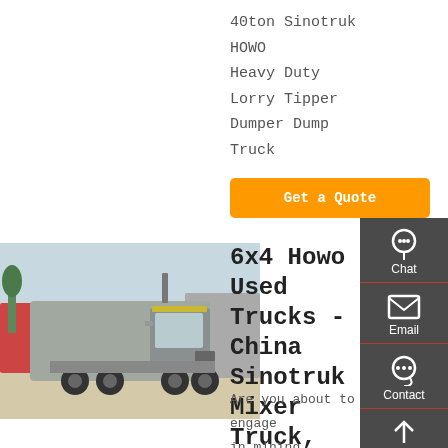40ton Sinotruk HOWO Heavy Duty Lorry Tipper Dumper Dump Truck
Get a Quote
[Figure (photo): Silver HOWO 6x4 heavy truck/tractor unit parked outdoors]
6x4 Howo Used Trucks - China Sinotruk Mixer Truck, Dump
Are you about to engage in mining exploitation Or road construction? To boost your business that depends . on how m